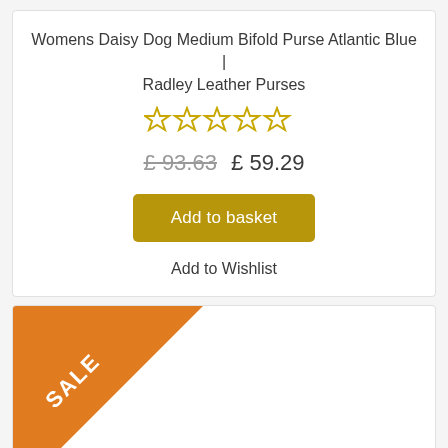Womens Daisy Dog Medium Bifold Purse Atlantic Blue | Radley Leather Purses
[Figure (other): Five empty star rating icons in gold/yellow outline]
£ 93.63  £ 59.29
Add to basket
Add to Wishlist
[Figure (illustration): Orange corner ribbon badge with SALE text]